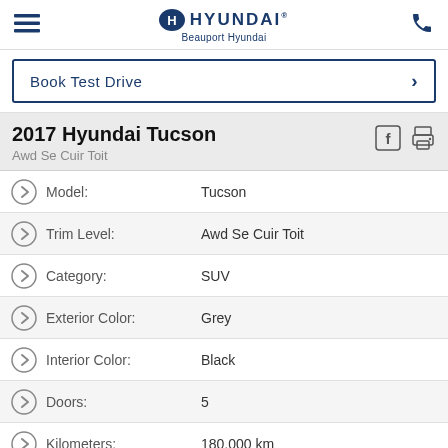Beauport Hyundai
Book Test Drive
2017 Hyundai Tucson
Awd Se Cuir Toit
|  | Field | Value |
| --- | --- | --- |
|  | Model: | Tucson |
|  | Trim Level: | Awd Se Cuir Toit |
|  | Category: | SUV |
|  | Exterior Color: | Grey |
|  | Interior Color: | Black |
|  | Doors: | 5 |
|  | Kilometers: | 180,000 km |
|  | Stock #: | 50895A |
|  | Drive train: | All-wheel drive |